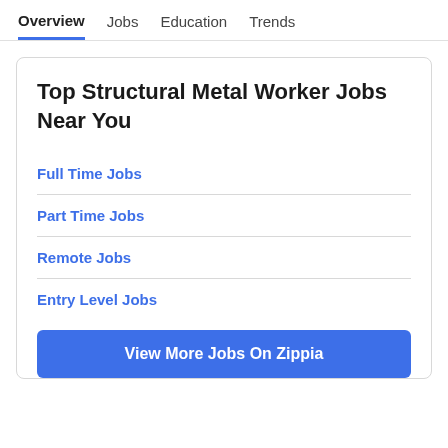Overview  Jobs  Education  Trends
Top Structural Metal Worker Jobs Near You
Full Time Jobs
Part Time Jobs
Remote Jobs
Entry Level Jobs
View More Jobs On Zippia